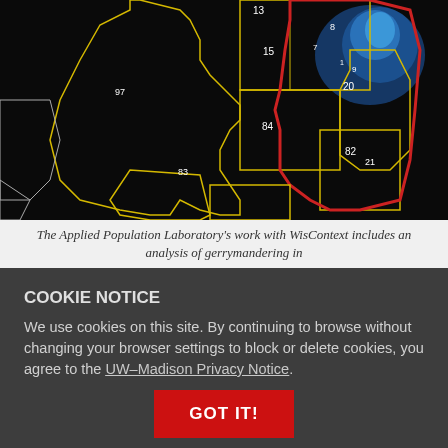[Figure (map): A dark map showing Wisconsin Assembly district boundaries with numbered districts. Yellow outlined regions show districts 97, 83, 15, 84, 82, 21, 20, 9 and others. A red bold border outlines a specific region. Blue shading indicates population density in the upper right area. District numbers visible include 13, 15, 97, 84, 83, 82, 21, 20, 8, 7, 1, 9.]
The Applied Population Laboratory’s work with WisContext includes an analysis of gerrymandering in Wisconsin’s Assembly districts.
COOKIE NOTICE
We use cookies on this site. By continuing to browse without changing your browser settings to block or delete cookies, you agree to the UW–Madison Privacy Notice.
GOT IT!